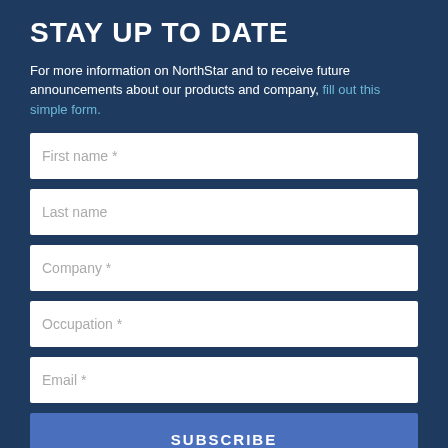STAY UP TO DATE
For more information on NorthStar and to receive future announcements about our products and company, fill out this simple form.
First name *
Last name
Company *
Occupation *
Email *
SUBSCRIBE